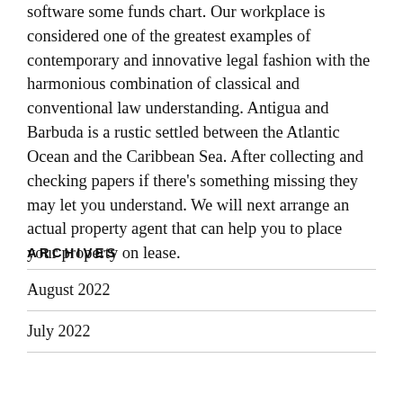software some funds chart. Our workplace is considered one of the greatest examples of contemporary and innovative legal fashion with the harmonious combination of classical and conventional law understanding. Antigua and Barbuda is a rustic settled between the Atlantic Ocean and the Caribbean Sea. After collecting and checking papers if there's something missing they may let you understand. We will next arrange an actual property agent that can help you to place your property on lease.
ARCHIVES
August 2022
July 2022